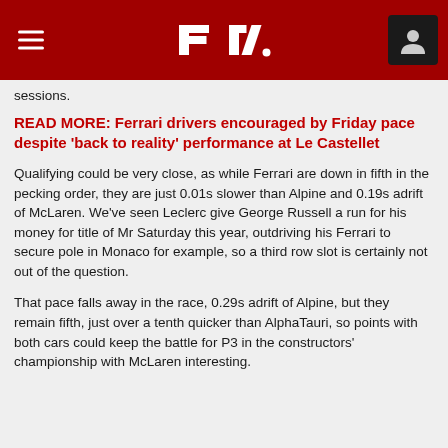F1 navigation header with hamburger menu, F1 logo, and user icon
sessions.
READ MORE: Ferrari drivers encouraged by Friday pace despite 'back to reality' performance at Le Castellet
Qualifying could be very close, as while Ferrari are down in fifth in the pecking order, they are just 0.01s slower than Alpine and 0.19s adrift of McLaren. We've seen Leclerc give George Russell a run for his money for title of Mr Saturday this year, outdriving his Ferrari to secure pole in Monaco for example, so a third row slot is certainly not out of the question.
That pace falls away in the race, 0.29s adrift of Alpine, but they remain fifth, just over a tenth quicker than AlphaTauri, so points with both cars could keep the battle for P3 in the constructors' championship with McLaren interesting.